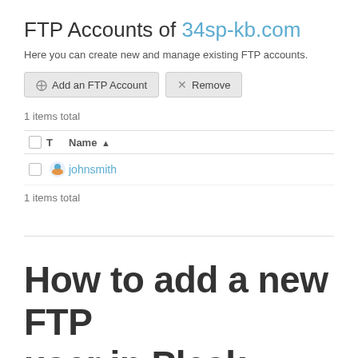FTP Accounts of 34sp-kb.com
Here you can create new and manage existing FTP accounts.
Add an FTP Account   Remove
1 items total
|  | T | Name |
| --- | --- | --- |
|  |  | johnsmith |
1 items total
How to add a new FTP user in Plesk Onyx